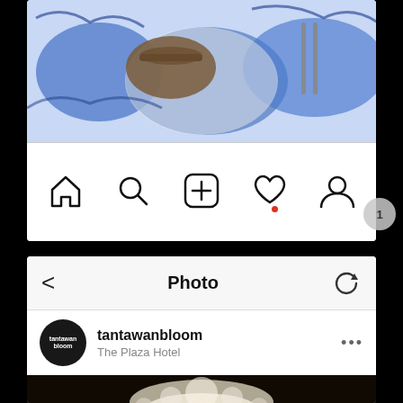[Figure (screenshot): Top portion of an Instagram app screenshot showing a food photo (basket on blue and white decorative plate/cloth) and the bottom navigation bar with home, search, plus, heart (with red notification dot), and profile icons.]
[Figure (screenshot): Bottom Instagram app screenshot showing a 'Photo' header bar with back arrow and refresh icon, followed by a post from user 'tantawanbloom' at 'The Plaza Hotel' with a photo of an elaborate floral chandelier installation in an ornate gold ballroom.]